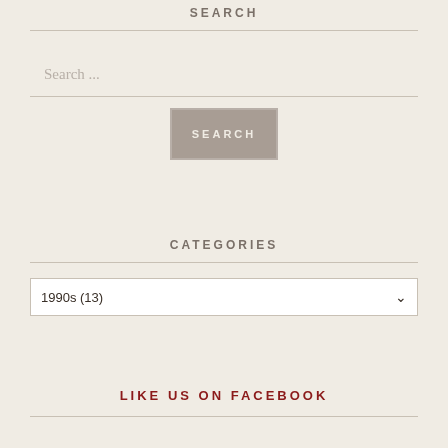SEARCH
[Figure (screenshot): Search input field with placeholder text 'Search ...' and a SEARCH button below]
CATEGORIES
[Figure (screenshot): Dropdown selector showing '1990s (13)']
LIKE US ON FACEBOOK